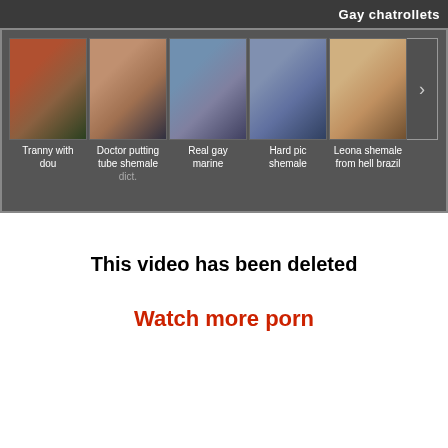Gay chatrollets
[Figure (screenshot): Carousel of video thumbnails with labels: Tranny with dou, Doctor putting tube shemale dict., Real gay marine, Hard pic shemale, Leona shemale from hell brazil]
This video has been deleted
Watch more porn